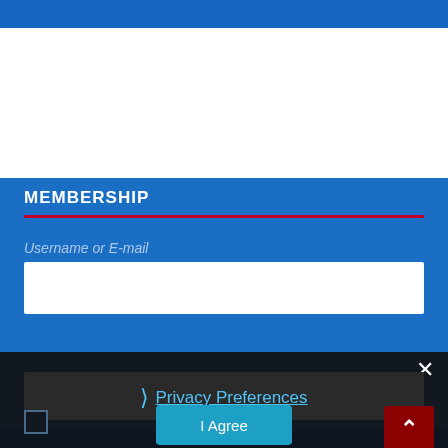MEMBERSHIP
Username or E-mail
[Figure (screenshot): White input field for username or e-mail entry]
[Figure (screenshot): Dark overlay panel with Privacy Preferences link, I Agree button, close button, checkbox, and scroll-to-top button]
Privacy Preferences
I Agree